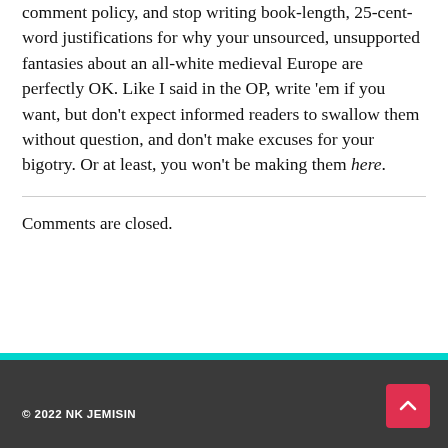comment policy, and stop writing book-length, 25-cent-word justifications for why your unsourced, unsupported fantasies about an all-white medieval Europe are perfectly OK. Like I said in the OP, write 'em if you want, but don't expect informed readers to swallow them without question, and don't make excuses for your bigotry. Or at least, you won't be making them here.
Comments are closed.
© 2022 NK JEMISIN